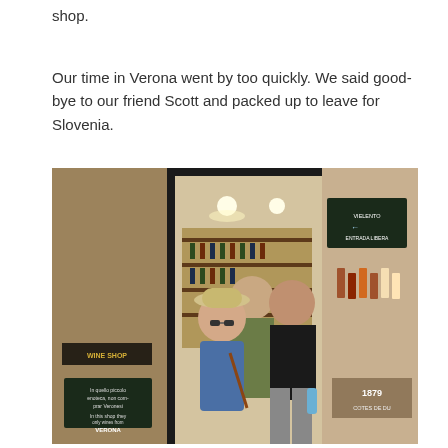shop.
Our time in Verona went by too quickly. We said good-bye to our friend Scott and packed up to leave for Slovenia.
[Figure (photo): Three people posing at the entrance of a wine shop. A woman in a denim jacket and white hat stands in the center smiling, flanked by two men. The shop window shows signs reading 'WINE SHOP' and 'VERONA'. Wine bottles and products are visible inside and to the right.]